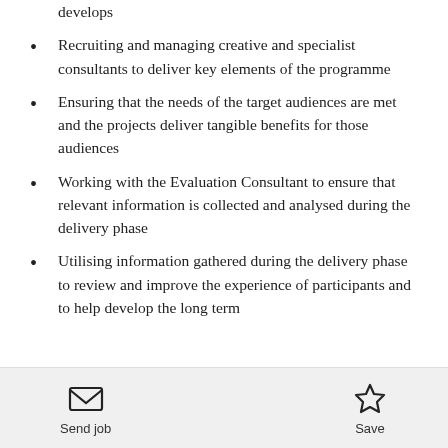develops
Recruiting and managing creative and specialist consultants to deliver key elements of the programme
Ensuring that the needs of the target audiences are met and the projects deliver tangible benefits for those audiences
Working with the Evaluation Consultant to ensure that relevant information is collected and analysed during the delivery phase
Utilising information gathered during the delivery phase to review and improve the experience of participants and to help develop the long term
Send job   Save